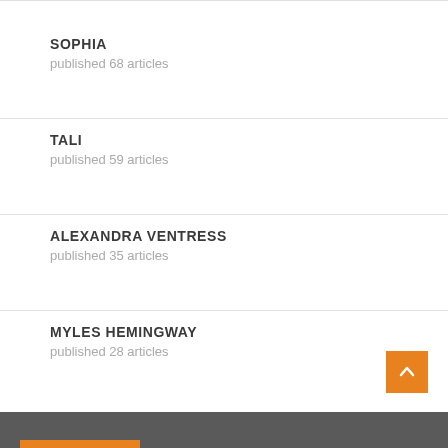SOPHIA
published 68 articles
TALI
published 59 articles
ALEXANDRA VENTRESS
published 35 articles
MYLES HEMINGWAY
published 28 articles